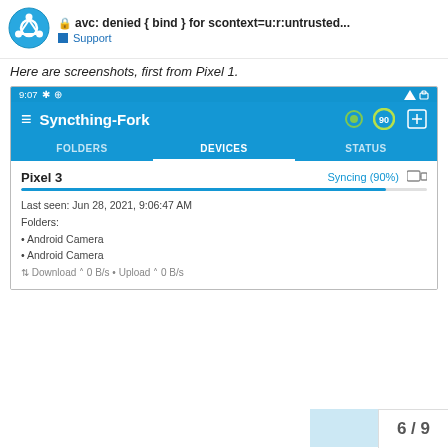🔒 avc: denied { bind } for scontext=u:r:untrusted... ■ Support
Here are screenshots, first from Pixel 1.
[Figure (screenshot): Android app screenshot showing Syncthing-Fork app, Devices tab, with Pixel 3 device syncing at 90%. Status bar shows 9:07. Device last seen Jun 28, 2021, 9:06:47 AM. Folders: Android Camera (x2). Download 0 B/s · Upload 0 B/s.]
6 / 9